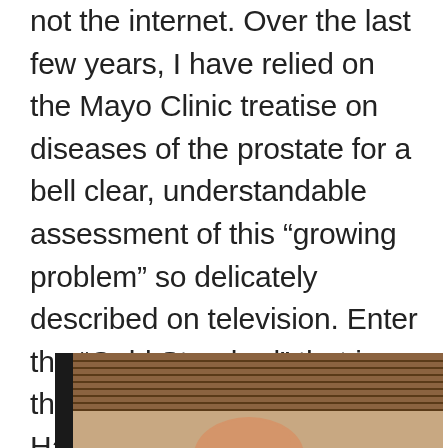not the internet. Over the last few years, I have relied on the Mayo Clinic treatise on diseases of the prostate for a bell clear, understandable assessment of this “growing problem” so delicately described on television. Enter the “Gold Standard” that is the subject of this piece. Hang on, it get’s better.
[Figure (photo): Partial photo showing wooden window blinds and what appears to be a person's thumb or hand at the bottom, with a dark vertical bar on the left side.]